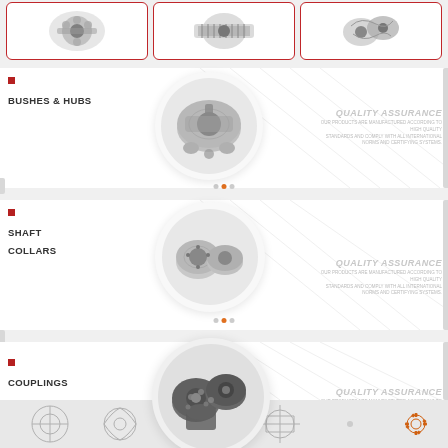[Figure (photo): Three product images in rounded red-bordered boxes at top: gears/flanges, timing pulleys, and bevel gears]
BUSHES & HUBS
[Figure (photo): Circular product photo of bushes and hubs - silver/grey metal components]
QUALITY ASSURANCE
OUR PRODUCTS ARE MANUFACTURED ACCORDING TO HIGH QUALITY STANDARDS AND COMPLY WITH ALL INTERNATIONAL NORMS AND CERTIFYING SYSTEMS.
SHAFT COLLARS
[Figure (photo): Circular product photo of shaft collars - silver metal ring components]
QUALITY ASSURANCE
OUR PRODUCTS ARE MANUFACTURED ACCORDING TO HIGH QUALITY STANDARDS AND COMPLY WITH ALL INTERNATIONAL NORMS AND CERTIFYING SYSTEMS.
COUPLINGS
[Figure (photo): Circular product photo of couplings - dark metal coupling components]
QUALITY ASSURANCE
OUR PRODUCTS ARE MANUFACTURED ACCORDING TO HIGH QUALITY STANDARDS AND COMPLY WITH ALL INTERNATIONAL NORMS AND CERTIFYING SYSTEMS.
[Figure (engineering-diagram): Footer strip with mechanical engineering blueprint drawings and a gear icon]